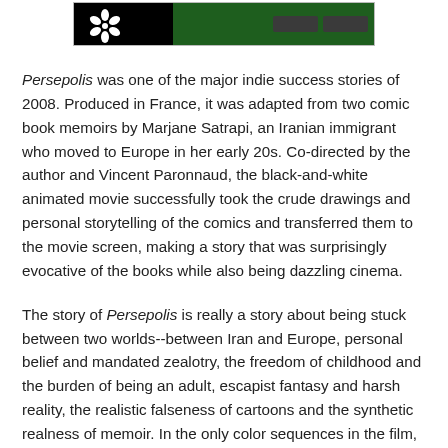[Figure (screenshot): Screenshot of the Persepolis movie/website showing a dark background with a flower graphic on the left and green navigation bar on the right]
Persepolis was one of the major indie success stories of 2008. Produced in France, it was adapted from two comic book memoirs by Marjane Satrapi, an Iranian immigrant who moved to Europe in her early 20s. Co-directed by the author and Vincent Paronnaud, the black-and-white animated movie successfully took the crude drawings and personal storytelling of the comics and transferred them to the movie screen, making a story that was surprisingly evocative of the books while also being dazzling cinema.
The story of Persepolis is really a story about being stuck between two worlds--between Iran and Europe, personal belief and mandated zealotry, the freedom of childhood and the burden of being an adult, escapist fantasy and harsh reality, the realistic falseness of cartoons and the synthetic realness of memoir. In the only color sequences in the film, the "present day" of the story sees Satrapi (voiced by Chiara Mastroianni) in an airport, trying to decide whether to leave France and return home to Iran after many years in exile. She is stuck by her indecision in a massive construct that is